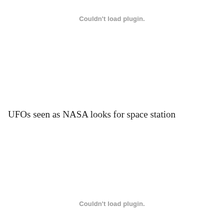Couldn't load plugin.
UFOs seen as NASA looks for space station
Couldn't load plugin.